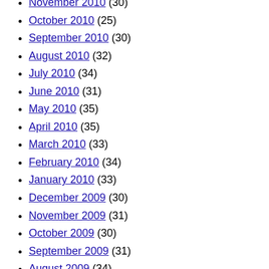November 2010 (30)
October 2010 (25)
September 2010 (30)
August 2010 (32)
July 2010 (34)
June 2010 (31)
May 2010 (35)
April 2010 (35)
March 2010 (33)
February 2010 (34)
January 2010 (33)
December 2009 (30)
November 2009 (31)
October 2009 (30)
September 2009 (31)
August 2009 (34)
July 2009 (34)
June 2009 (34)
May 2009 (33)
April 2009 (32)
March 2009 (42)
February 2009 (38)
January 2009 (57)
December 2008 (40)
November 2008 (30)
October 2008 (35)